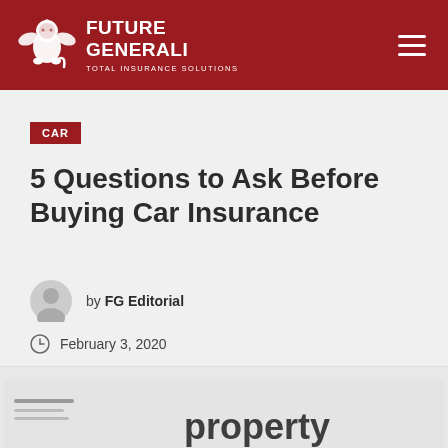[Figure (logo): Future Generali Total Insurance Solutions logo — white lion emblem with wings on dark red background, company name in white uppercase text]
CAR
5 Questions to Ask Before Buying Car Insurance
by FG Editorial
February 3, 2020
[Figure (photo): Partial article header image showing the word 'property' in large text, partially visible at the bottom of the page]